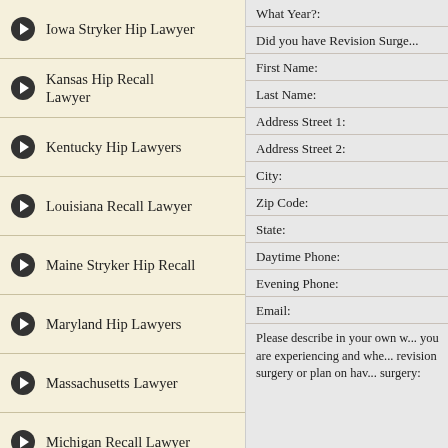Iowa Stryker Hip Lawyer
Kansas Hip Recall Lawyer
Kentucky Hip Lawyers
Louisiana Recall Lawyer
Maine Stryker Hip Recall
Maryland Hip Lawyers
Massachusetts Lawyer
Michigan Recall Lawyer
Minnesota Recall Lawyer
Mississippi Hip Recall
What Year?:
Did you have Revision Surgery:
First Name:
Last Name:
Address Street 1:
Address Street 2:
City:
Zip Code:
State:
Daytime Phone:
Evening Phone:
Email:
Please describe in your own words the symptoms you are experiencing and whether you have had revision surgery or plan on having revision surgery: